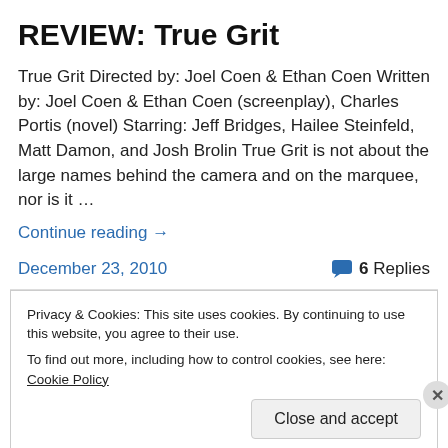REVIEW: True Grit
True Grit Directed by: Joel Coen & Ethan Coen Written by: Joel Coen & Ethan Coen (screenplay), Charles Portis (novel) Starring: Jeff Bridges, Hailee Steinfeld, Matt Damon, and Josh Brolin True Grit is not about the large names behind the camera and on the marquee, nor is it …
Continue reading →
December 23, 2010   6 Replies
Privacy & Cookies: This site uses cookies. By continuing to use this website, you agree to their use.
To find out more, including how to control cookies, see here: Cookie Policy
Close and accept
Post on the go.